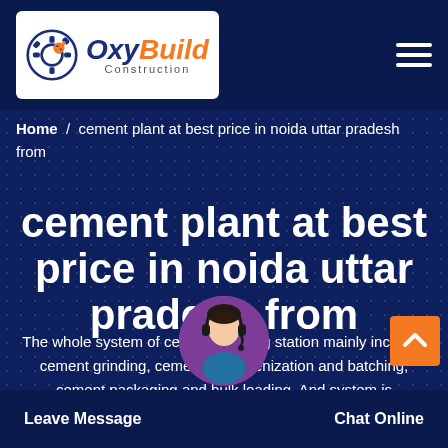[Figure (logo): OxyBuild Construction logo with gear icon, white background. 'Oxy' in dark blue italic bold, 'Build' in orange italic bold, 'Construction' in small gray text below.]
Home / cement plant at best price in noida uttar pradesh from
cement plant at best price in noida uttar pradesh from
The whole system of cement grinding station mainly includes cement grinding, cement homogenization and batching, cement packaging and bulk loading. And system is composed of cement mill, high-efficiency separator, elevator, packing machine and so on. In order to meet the customers' requirements on different
Leave Message
Chat Online